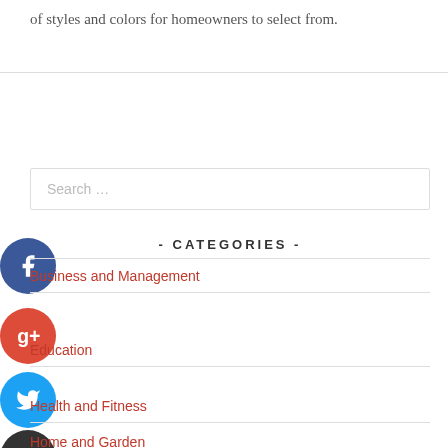of styles and colors for homeowners to select from.
Search …
- CATEGORIES -
Business and Management
Education
Health and Fitness
Home and Garden